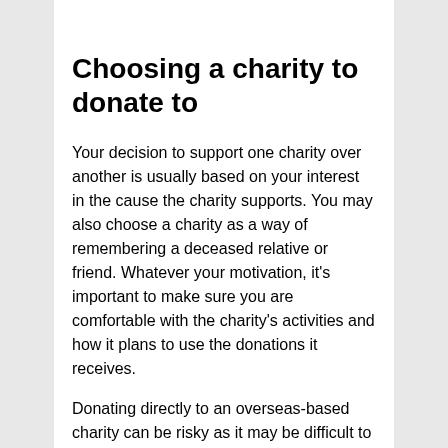Choosing a charity to donate to
Your decision to support one charity over another is usually based on your interest in the cause the charity supports. You may also choose a charity as a way of remembering a deceased relative or friend. Whatever your motivation, it's important to make sure you are comfortable with the charity's activities and how it plans to use the donations it receives.
Donating directly to an overseas-based charity can be risky as it may be difficult to verify the information found on websites or social media sites.
You may prefer to donate to an Australian charity